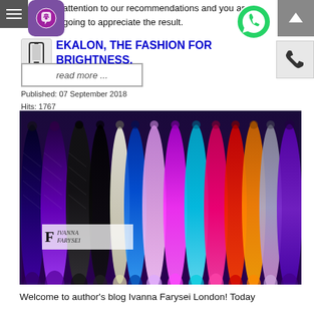attention to our recommendations and you are going to appreciate the result.
EKALON, THE FASHION FOR BRIGHTNESS.
Published: 07 September 2018
Hits: 1767
[Figure (photo): Multiple colorful ombre braided hair extensions arranged side by side showing a rainbow of colors from blue/purple to black, pink, teal, red, orange, and yellow. Logo overlay in top left shows stylized F and Ivanna Farysei branding.]
Welcome to author's blog Ivanna Farysei London! Today